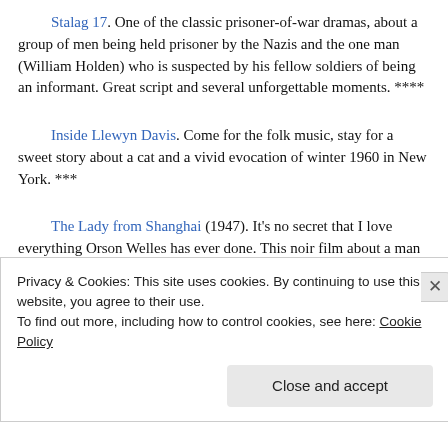Stalag 17. One of the classic prisoner-of-war dramas, about a group of men being held prisoner by the Nazis and the one man (William Holden) who is suspected by his fellow soldiers of being an informant. Great script and several unforgettable moments. ****
Inside Llewyn Davis. Come for the folk music, stay for a sweet story about a cat and a vivid evocation of winter 1960 in New York. ***
The Lady from Shanghai (1947). It's no secret that I love everything Orson Welles has ever done. This noir film about a man framed for murder occasionally stretches credulity (how could
Privacy & Cookies: This site uses cookies. By continuing to use this website, you agree to their use.
To find out more, including how to control cookies, see here: Cookie Policy